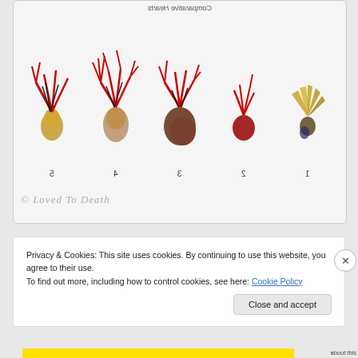[Figure (photo): Comparative Hearts display showing 5 animal hearts labeled 1-5 (right to left), mounted on a white background in an acrylic case. Hearts shown in mirrored/upside-down orientation. Various species heart specimens with red vascular structures visible.]
Comparative Hearts
© Loved To Death
Privacy & Cookies: This site uses cookies. By continuing to use this website, you agree to their use.
To find out more, including how to control cookies, see here: Cookie Policy